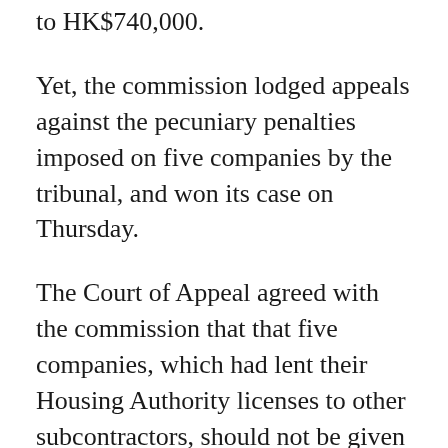to HK$740,000.
Yet, the commission lodged appeals against the pecuniary penalties imposed on five companies by the tribunal, and won its case on Thursday.
The Court of Appeal agreed with the commission that that five companies, which had lent their Housing Authority licenses to other subcontractors, should not be given a lower pecuniary penalty solely because it was their subcontractors who had entered into the market sharing and price fixing agreements.
The court also found that no discounts in penalty should be given, despite the